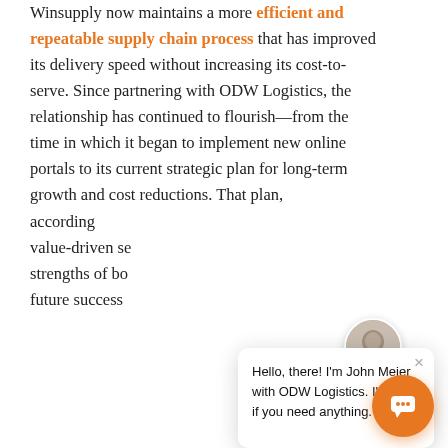Winsupply now maintains a more efficient and repeatable supply chain process that has improved its delivery speed without increasing its cost-to-serve. Since partnering with ODW Logistics, the relationship has continued to flourish—from the time in which it began to implement new online portals to its current strategic plan for long-term growth and cost reductions. That plan, according [to ...] value-driven se[rvice ...] strengths of bo[th ...] future success [...]
[Figure (other): Chat widget overlay showing avatar of John Meier and speech bubble: 'Hello, there! I'm John Meier with ODW Logistics. I'm here if you need anything.' with a close (×) button, and an orange chat FAB button in the bottom-right corner.]